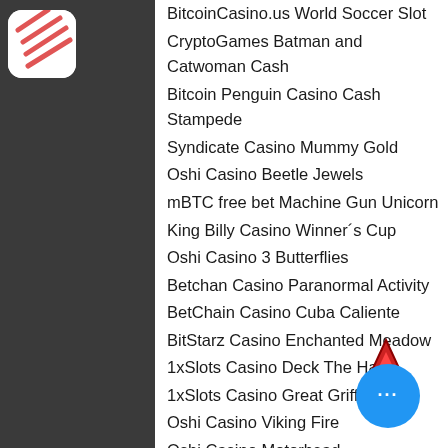[Figure (logo): App icon with diagonal stripes on white rounded square background]
BitcoinCasino.us World Soccer Slot
CryptoGames Batman and Catwoman Cash
Bitcoin Penguin Casino Cash Stampede
Syndicate Casino Mummy Gold
Oshi Casino Beetle Jewels
mBTC free bet Machine Gun Unicorn
King Billy Casino Winner´s Cup
Oshi Casino 3 Butterflies
Betchan Casino Paranormal Activity
BetChain Casino Cuba Caliente
BitStarz Casino Enchanted Meadow
1xSlots Casino Deck The Halls
1xSlots Casino Great Griffin
Oshi Casino Viking Fire
Oshi Casino Motorhead
https://www.yogiholly.com/profile/verebcuri/profile
https://www.dominicanna420.com/profile/camilovalinei/profile
https://www.herokidsports.com/profile/caerinm/profile
[Figure (illustration): Red triangle/pyramid icon]
[Figure (illustration): Blue circle with three white dots (more options button)]